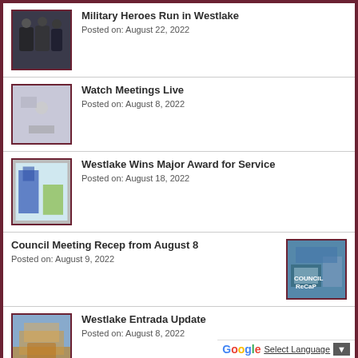Military Heroes Run in Westlake
Posted on: August 22, 2022
Watch Meetings Live
Posted on: August 8, 2022
Westlake Wins Major Award for Service
Posted on: August 18, 2022
Council Meeting Recep from August 8
Posted on: August 9, 2022
Westlake Entrada Update
Posted on: August 8, 2022
Select Language